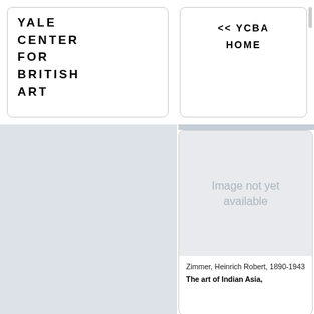[Figure (logo): Yale Center for British Art logo text in bold uppercase letters]
<< YCBA HOME
[Figure (photo): Image not yet available placeholder]
Zimmer, Heinrich Robert, 1890-1943
The art of Indian Asia,